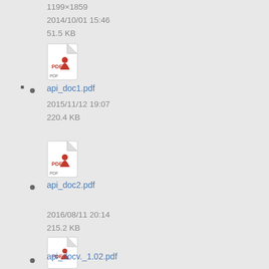1199×1859
2014/10/01 15:46
51.5 KB
[Figure (other): PDF file icon]
api_doc1.pdf
2015/11/12 19:07
220.4 KB
[Figure (other): PDF file icon]
api_doc2.pdf
2016/08/11 20:14
215.2 KB
[Figure (other): PDF file icon]
api_docv._1.02.pdf
2016/08/16 22:28
183.5 KB
[Figure (other): PDF file icon (partially visible)]